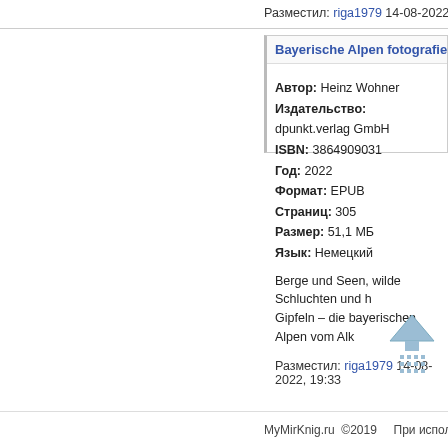Разместил: riga1979 14-08-2022, 19:44
Bayerische Alpen fotografieren: Die s
Автор: Heinz Wohner
Издательство: dpunkt.verlag GmbH
ISBN: 3864909031
Год: 2022
Формат: EPUB
Страниц: 305
Размер: 51,1 МБ
Язык: Немецкий
Berge und Seen, wilde Schluchten und h Gipfeln – die bayerischen Alpen vom Alk
Разместил: riga1979 14-08-2022, 19:33
[Figure (other): Back to top arrow icon in light blue/teal color]
MyMirKnig.ru  ©2019     При использован